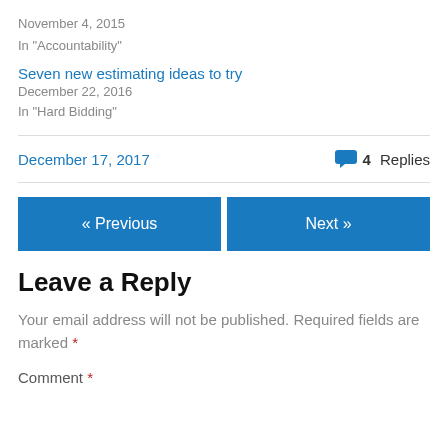November 4, 2015
In "Accountability"
Seven new estimating ideas to try
December 22, 2016
In "Hard Bidding"
December 17, 2017   4 Replies
« Previous
Next »
Leave a Reply
Your email address will not be published. Required fields are marked *
Comment *